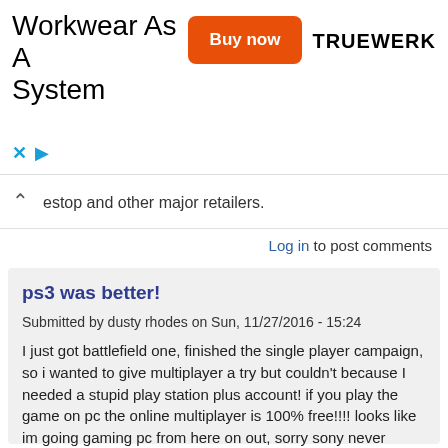[Figure (infographic): Advertisement banner: 'Workwear As A System' with orange 'Buy now' button and TRUEWERK logo, with close (x) and play icons at bottom left]
estop and other major retailers.
Log in to post comments
ps3 was better!
Submitted by dusty rhodes on Sun, 11/27/2016 - 15:24
I just got battlefield one, finished the single player campaign, so i wanted to give multiplayer a try but couldn't because I needed a stupid play station plus account! if you play the game on pc the online multiplayer is 100% free!!!! looks like im going gaming pc from here on out, sorry sony never again!!!!
Log in to post comments